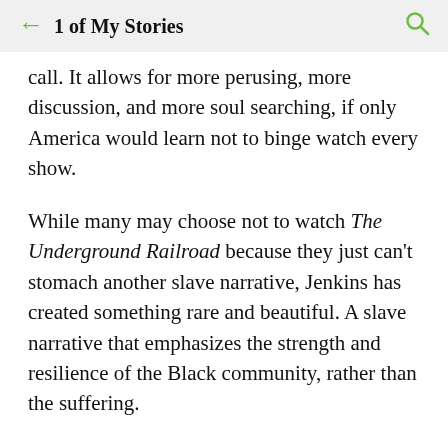← 1 of My Stories 🔍
call. It allows for more perusing, more discussion, and more soul searching, if only America would learn not to binge watch every show.
While many may choose not to watch The Underground Railroad because they just can't stomach another slave narrative, Jenkins has created something rare and beautiful. A slave narrative that emphasizes the strength and resilience of the Black community, rather than the suffering.
As Jenkins...